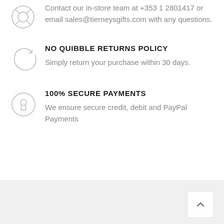Contact our in-store team at +353 1 2801417 or email sales@tierneysgifts.com with any questions.
NO QUIBBLE RETURNS POLICY
Simply return your purchase within 30 days.
100% SECURE PAYMENTS
We ensure secure credit, debit and PayPal Payments